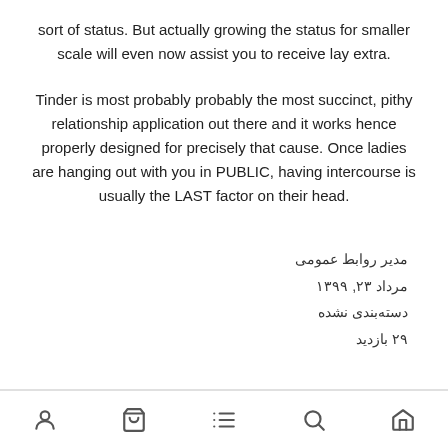sort of status. But actually growing the status for smaller scale will even now assist you to receive lay extra.
Tinder is most probably probably the most succinct, pithy relationship application out there and it works hence properly designed for precisely that cause. Once ladies are hanging out with you in PUBLIC, having intercourse is usually the LAST factor on their head.
مدیر روابط عمومی
مرداد ۲۳, ۱۳۹۹
دسته‌بندی نشده
۲۹ بازدید
[navigation icons: user, cart, list, search, home]